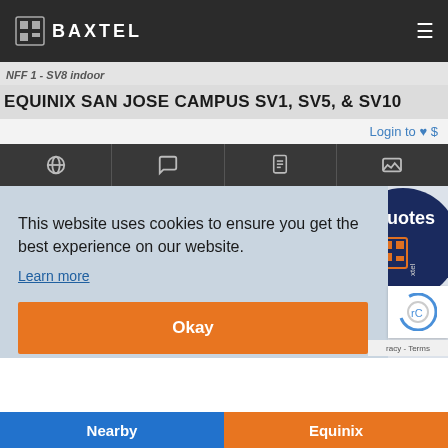Baxtel
NFF 1 - SV8 indoor
EQUINIX SAN JOSE CAMPUS SV1, SV5, & SV10
Login to ♥ $
[Figure (screenshot): Navigation icon tabs: globe, chat, document, image]
[Figure (screenshot): Map background showing San Jose area with Quotes badge overlay]
This website uses cookies to ensure you get the best experience on our website.
Learn more
Okay
racy - Terms
Nearby
Equinix